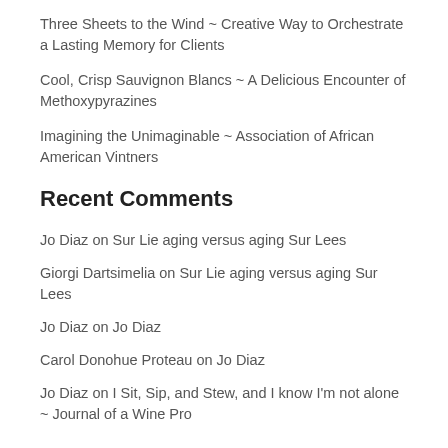Three Sheets to the Wind ~ Creative Way to Orchestrate a Lasting Memory for Clients
Cool, Crisp Sauvignon Blancs ~ A Delicious Encounter of Methoxypyrazines
Imagining the Unimaginable ~ Association of African American Vintners
Recent Comments
Jo Diaz on Sur Lie aging versus aging Sur Lees
Giorgi Dartsimelia on Sur Lie aging versus aging Sur Lees
Jo Diaz on Jo Diaz
Carol Donohue Proteau on Jo Diaz
Jo Diaz on I Sit, Sip, and Stew, and I know I'm not alone ~ Journal of a Wine Pro